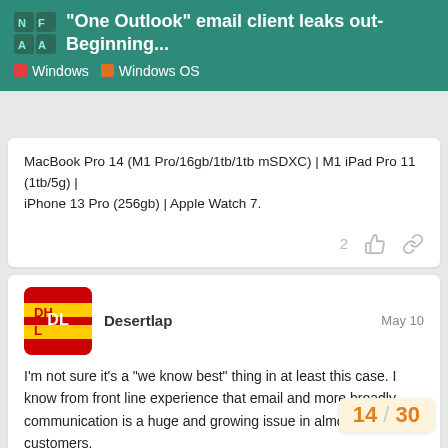"One Outlook" email client leaks out- Beginning... | Windows | Windows OS
MacBook Pro 14 (M1 Pro/16gb/1tb/1tb mSDXC) | M1 iPad Pro 11 (1tb/5g) | iPhone 13 Pro (256gb) | Apple Watch 7.
Desertlap
May 10

I'm not sure it's a “we know best” thing in at least this case. I know from front line experience that email and more broadly communication is a huge and growing issue in almost all my customers.

Everything from security issues, to sup
Millennial’s view of email as an anather
14 / 30